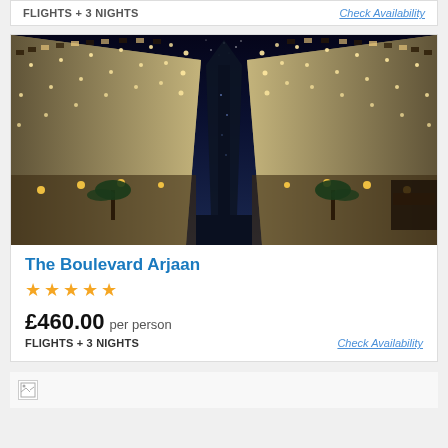FLIGHTS + 3 NIGHTS
Check Availability
[Figure (photo): Nighttime upward-angle photograph of The Boulevard Arjaan hotel complex, showing tall illuminated buildings flanking a central dark sky with a skyscraper in the background and palm trees below]
The Boulevard Arjaan
5 stars
£460.00 per person
FLIGHTS + 3 NIGHTS
Check Availability
[Figure (photo): Broken image placeholder at bottom of page]